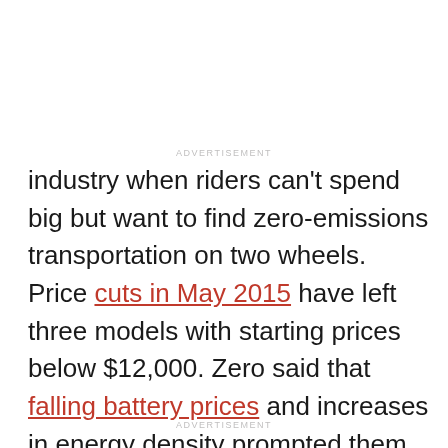ADVERTISEMENT
industry when riders can't spend big but want to find zero-emissions transportation on two wheels. Price cuts in May 2015 have left three models with starting prices below $12,000. Zero said that falling battery prices and increases in energy density prompted them to immediately cut the cost of bikes by $1,350 across the board. Here is a look at specs of the cheapest electric motorcycles on the market.
ADVERTISEMENT